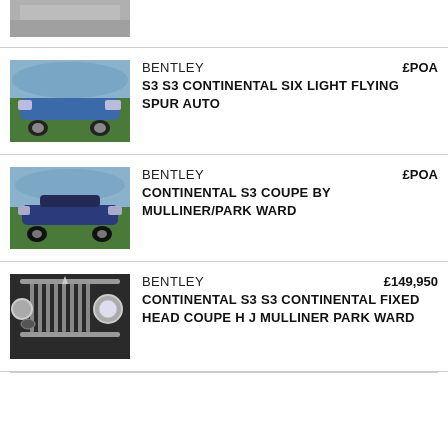[Figure (photo): Partial view of a car, cropped at top of page]
BENTLEY
S3 S3 CONTINENTAL SIX LIGHT FLYING SPUR AUTO
£POA
[Figure (photo): Blue Bentley Continental S3 side view parked near lake]
BENTLEY
CONTINENTAL S3 COUPE BY MULLINER/PARK WARD
£POA
[Figure (photo): Dark blue Bentley Continental S3 Coupe side view outdoors]
BENTLEY
CONTINENTAL S3 S3 CONTINENTAL FIXED HEAD COUPE H J MULLINER PARK WARD
£149,950
[Figure (photo): Close-up of Bentley grille and headlamps, dark car]